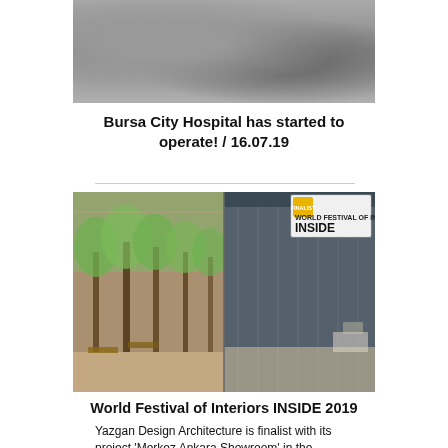[Figure (photo): Blurred gray architectural photo at top of page]
Bursa City Hospital has started to operate! / 16.07.19
[Figure (photo): World Festival of Interiors INSIDE 2019 - composite image showing a tree-lined outdoor walkway on the left and a modern glass building interior on the right, with the INSIDE World Festival of Interiors finalist logo in the upper right corner]
World Festival of Interiors INSIDE 2019
Yazgan Design Architecture is finalist with its project 'Merkez Ankara Showroom' in the INSIDE Awards in which interior design projects compete, as a part of